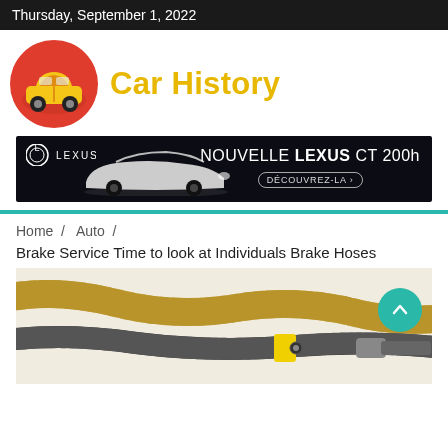Thursday, September 1, 2022
[Figure (logo): Car History website logo: red circle with yellow cartoon car icon, beside bold yellow 'Car History' text]
[Figure (photo): Lexus advertisement banner: dark background, white Lexus CT 200h car, Lexus logo top-left, text 'NOUVELLE LEXUS CT 200h' and 'DÉCOUVREZ-LA' button]
Home  /  Auto  /
Brake Service Time to look at Individuals Brake Hoses
[Figure (photo): Close-up photo of brake hoses: braided metal and tan/gold colored hoses with yellow band fitting, on white background]